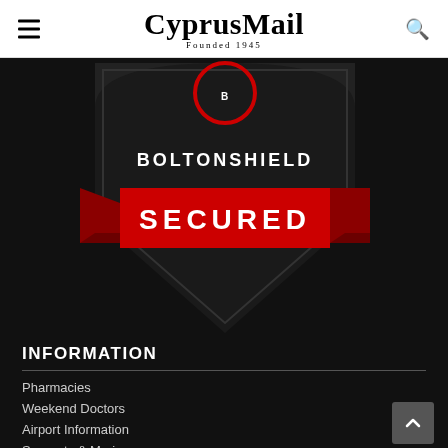CyprusMail Founded 1945
[Figure (logo): BoltonShield Secured badge — black shield shape with 'BOLTONSHIELD' text and a red ribbon banner reading 'SECURED' in white bold letters]
INFORMATION
Pharmacies
Weekend Doctors
Airport Information
Seaports & Marinas
Currencies & Stocks